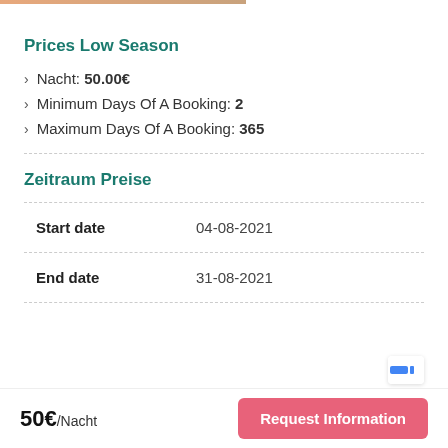Prices Low Season
Nacht: 50.00€
Minimum Days Of A Booking: 2
Maximum Days Of A Booking: 365
Zeitraum Preise
|  |  |
| --- | --- |
| Start date | 04-08-2021 |
| End date | 31-08-2021 |
50€/Nacht
Request Information